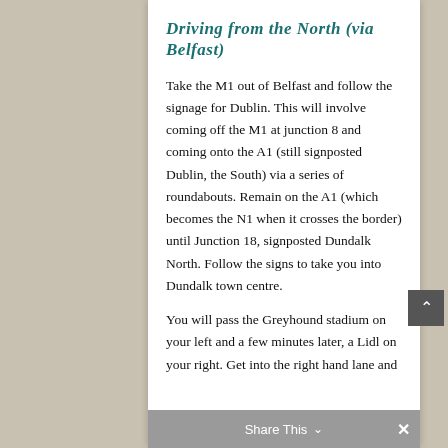Driving from the North (via Belfast)
Take the M1 out of Belfast and follow the signage for Dublin. This will involve coming off the M1 at junction 8 and coming onto the A1 (still signposted Dublin, the South) via a series of roundabouts. Remain on the A1 (which becomes the N1 when it crosses the border) until Junction 18, signposted Dundalk North. Follow the signs to take you into Dundalk town centre.
You will pass the Greyhound stadium on your left and a few minutes later, a Lidl on your right. Get into the right hand lane and